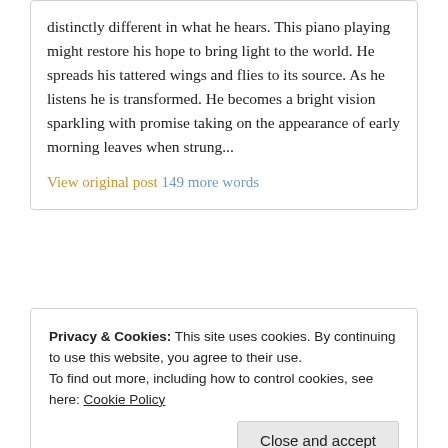distinctly different in what he hears. This piano playing might restore his hope to bring light to the world. He spreads his tattered wings and flies to its source. As he listens he is transformed. He becomes a bright vision sparkling with promise taking on the appearance of early morning leaves when strung...
View original post 149 more words
Privacy & Cookies: This site uses cookies. By continuing to use this website, you agree to their use. To find out more, including how to control cookies, see here: Cookie Policy
Close and accept